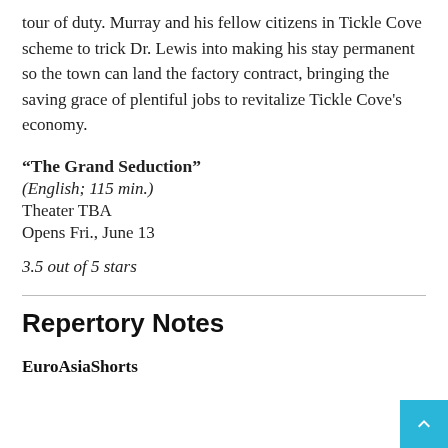tour of duty. Murray and his fellow citizens in Tickle Cove scheme to trick Dr. Lewis into making his stay permanent so the town can land the factory contract, bringing the saving grace of plentiful jobs to revitalize Tickle Cove's economy.
“The Grand Seduction”
(English; 115 min.)
Theater TBA
Opens Fri., June 13
3.5 out of 5 stars
Repertory Notes
EuroAsiaShorts